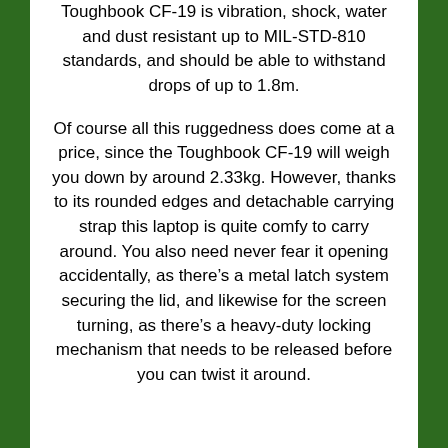Toughbook CF-19 is vibration, shock, water and dust resistant up to MIL-STD-810 standards, and should be able to withstand drops of up to 1.8m.
Of course all this ruggedness does come at a price, since the Toughbook CF-19 will weigh you down by around 2.33kg. However, thanks to its rounded edges and detachable carrying strap this laptop is quite comfy to carry around. You also need never fear it opening accidentally, as there’s a metal latch system securing the lid, and likewise for the screen turning, as there’s a heavy-duty locking mechanism that needs to be released before you can twist it around.
image: http://static.trustedreviews.com/94%7C0000257af%7C480044-1.jpg